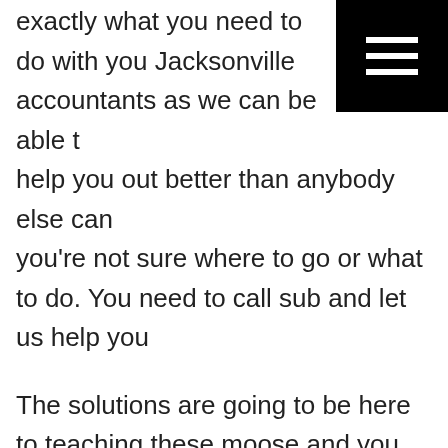exactly what you need to do with you Jacksonville accountants as we can be able to help you out better than anybody else can you're not sure where to go or what to do. You need to call sub and let us help you
The solutions are going to be here to teaching these moose and you can be able to do is be able to help you out today. Don't waste time, don't hesitate for letting us be here to show you the steps it takes that you know all the things you can put in the practice to make sure that you're getting the best results when it comes to Jacksonville accountants you want to call sub most make sure you're going in the right direction and you want to work with us. Th...